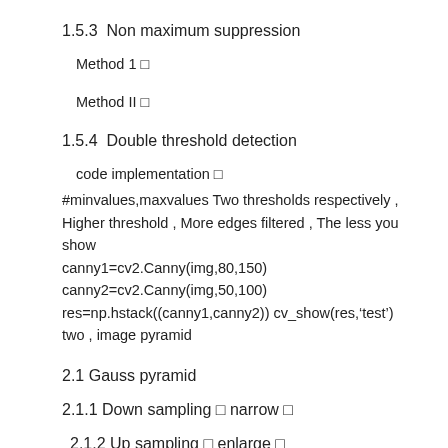1.5.3  Non maximum suppression
Method 1 □
Method II □
1.5.4  Double threshold detection
code implementation □
#minvalues,maxvalues Two thresholds respectively , Higher threshold , More edges filtered , The less you show
canny1=cv2.Canny(img,80,150)
canny2=cv2.Canny(img,50,100)
res=np.hstack((canny1,canny2)) cv_show(res,'test')
two , image pyramid
2.1 Gauss pyramid
2.1.1 Down sampling □ narrow □
2.1.2 Up sampling □ enlarge □